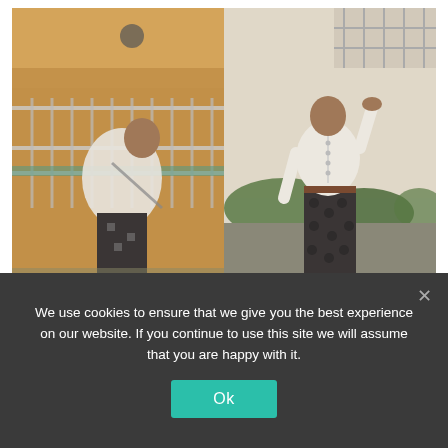[Figure (photo): Two side-by-side fashion photos of a young man wearing a white jacket and patterned dark trousers. Left photo: person leaning over a railing on a balcony/staircase area with warm orange-beige concrete walls. Right photo: person standing upright on a sidewalk with hand raised to forehead, green bushes in background.]
Tyler, The Creator's 'Golf
We use cookies to ensure that we give you the best experience on our website. If you continue to use this site we will assume that you are happy with it.